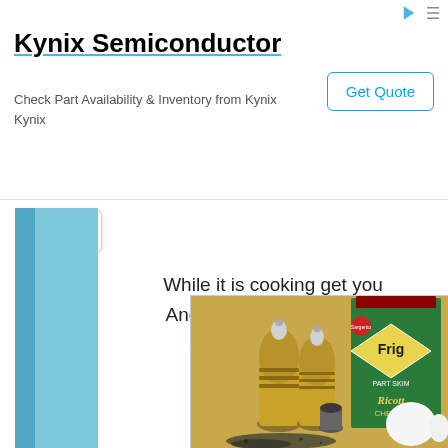[Figure (screenshot): Kynix Semiconductor advertisement banner with title, description, and Get Quote button]
While it is cooking get you
And don't forget to cook y
Just follow the direc
[Figure (photo): Cooking ingredients: two gold salt/pepper shakers, a container of Frigo Part Skim Ricotta Cheese, eggs, and ground spices/herbs on a golden surface]